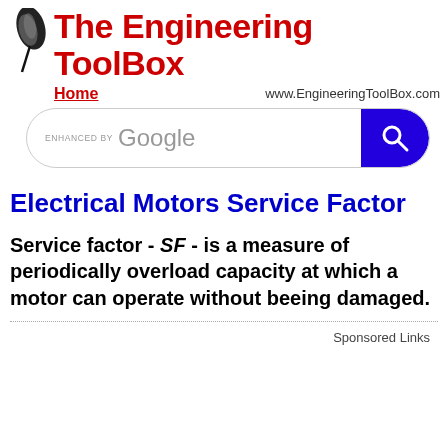The Engineering ToolBox — Home — www.EngineeringToolBox.com
[Figure (screenshot): Google search bar with 'ENHANCED BY Google' text and blue search button with magnifying glass icon]
Electrical Motors Service Factor
Service factor - SF - is a measure of periodically overload capacity at which a motor can operate without beeing damaged.
Sponsored Links